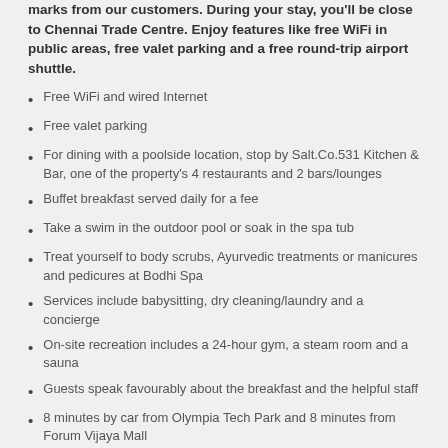marks from our customers. During your stay, you'll be close to Chennai Trade Centre. Enjoy features like free WiFi in public areas, free valet parking and a free round-trip airport shuttle.
Free WiFi and wired Internet
Free valet parking
For dining with a poolside location, stop by Salt.Co.531 Kitchen & Bar, one of the property's 4 restaurants and 2 bars/lounges
Buffet breakfast served daily for a fee
Take a swim in the outdoor pool or soak in the spa tub
Treat yourself to body scrubs, Ayurvedic treatments or manicures and pedicures at Bodhi Spa
Services include babysitting, dry cleaning/laundry and a concierge
On-site recreation includes a 24-hour gym, a steam room and a sauna
Guests speak favourably about the breakfast and the helpful staff
8 minutes by car from Olympia Tech Park and 8 minutes from Forum Vijaya Mall
Free airport shuttle service
About the Radisson Blu Hotel Chennai